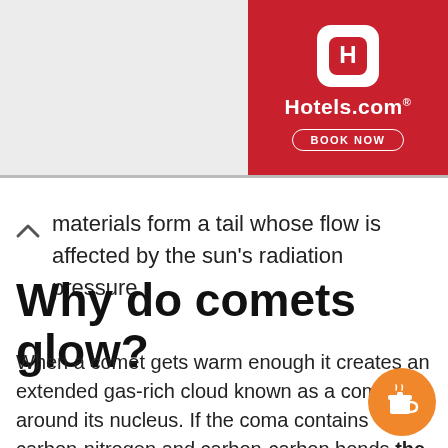[Figure (logo): Hotels.com advertisement banner with red background, H logo icon, Hotels.com text, and BOOK NOW button]
...materials form a tail whose flow is affected by the sun's radiation pressure.
Why do comets glow?
When a comet gets warm enough it creates an extended gas-rich cloud known as a coma around its nucleus. If the coma contains carbon-nitrogen and carbon-carbon bonds the Sun's ultraviolet light will excite the electrons inside it causing them to em... green glow when they drop down in ene...